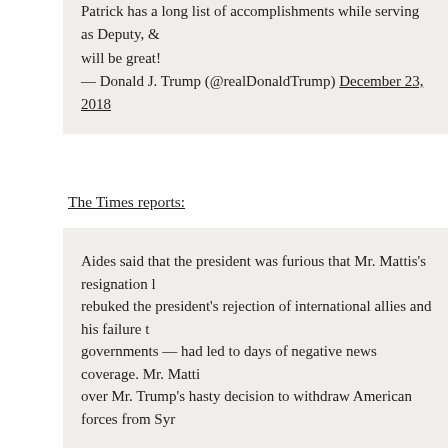Patrick has a long list of accomplishments while serving as Deputy, & will be great!
— Donald J. Trump (@realDonaldTump) December 23, 2018
The Times reports:
Aides said that the president was furious that Mr. Mattis's resignation letter rebuked the president's rejection of international allies and his failure to engage governments — had led to days of negative news coverage. Mr. Mattis over Mr. Trump's hasty decision to withdraw American forces from Syr
When Mr. Trump first announced that Mr. Mattis was leaving, effective defense secretary on Twitter, saying he was retiring "with distinction." although Mr. Trump had already seen the resignation letter when he p president did not understand just how forceful a rejection of his strateg
Hahaha no, it takes reading comprehension to figure that out. Mattis didn't say and a menace," so Trump didn't get that it was implicit in what Mattis did say.
The president has grown increasingly angry as the days have passed